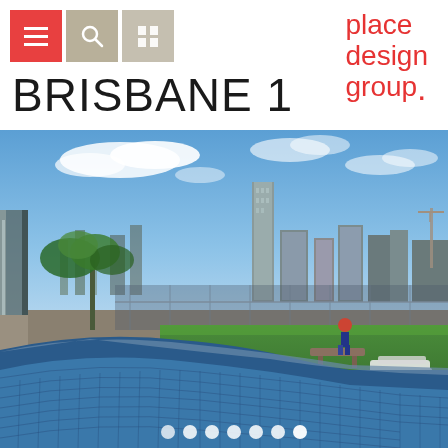[Figure (logo): Three navigation icon buttons: red hamburger menu, tan search magnifier, gray grid icon]
[Figure (logo): Place Design Group logo in red text, stacked: place / design / group.]
BRISBANE 1
[Figure (photo): Rooftop terrace photograph with blue mosaic spa/pool in foreground, green lawn, lounge chairs, a person walking, and Brisbane city skyline in background under blue sky with clouds. Pagination dots visible at bottom.]